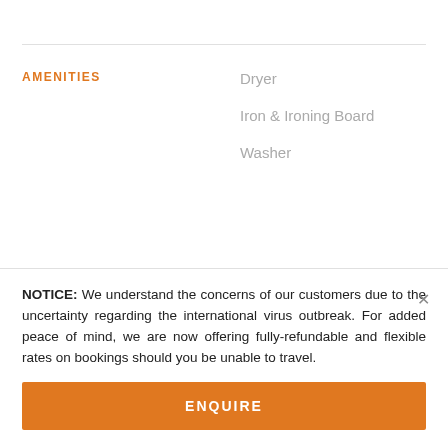AMENITIES
Dryer
Iron & Ironing Board
Washer
NOTICE: We understand the concerns of our customers due to the uncertainty regarding the international virus outbreak. For added peace of mind, we are now offering fully-refundable and flexible rates on bookings should you be unable to travel.
ENQUIRE